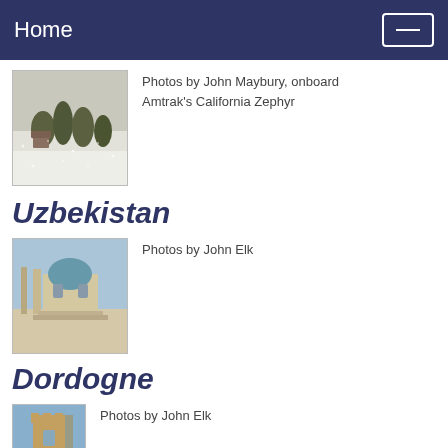Home
[Figure (photo): Winter snow scene with trees, taken from Amtrak's California Zephyr train]
Photos by John Maybury, onboard Amtrak's California Zephyr
Uzbekistan
[Figure (photo): Mosque or mausoleum in Uzbekistan with blue dome and columns]
Photos by John Elk
Dordogne
[Figure (photo): Stone tower/building in Dordogne, France against blue sky]
Photos by John Elk